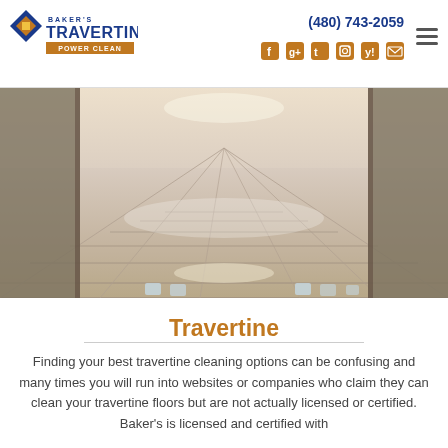Baker's Travertine Power Clean — (480) 743-2059
[Figure (photo): A long hallway with shiny polished travertine marble floors, reflecting overhead lights, with columns along the sides.]
Travertine
Finding your best travertine cleaning options can be confusing and many times you will run into websites or companies who claim they can clean your travertine floors but are not actually licensed or certified. Baker's is licensed and certified with